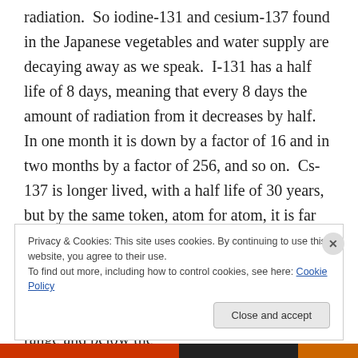radiation.  So iodine-131 and cesium-137 found in the Japanese vegetables and water supply are decaying away as we speak.  I-131 has a half life of 8 days, meaning that every 8 days the amount of radiation from it decreases by half.  In one month it is down by a factor of 16 and in two months by a factor of 256, and so on.  Cs-137 is longer lived, with a half life of 30 years, but by the same token, atom for atom, it is far less radioactive, by a factor of almost 1,400.  It is not clear yet that any of this radioactive contamination is at all harmful to anyone.  It may still be within the beneficial hormetic range and below the
Privacy & Cookies: This site uses cookies. By continuing to use this website, you agree to their use.
To find out more, including how to control cookies, see here: Cookie Policy
Close and accept